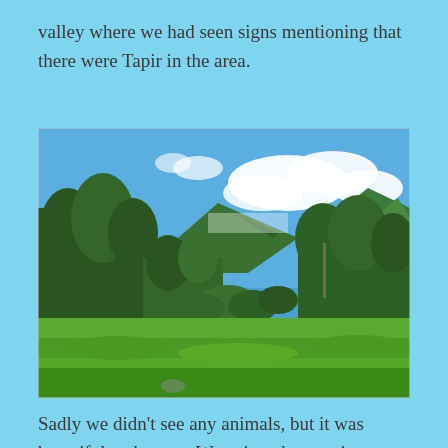valley where we had seen signs mentioning that there were Tapir in the area.
[Figure (photo): A scenic mountain valley landscape with green grassy fields in the foreground, dense trees and shrubs in the middle ground, and green mountains in the background under a bright blue sky with white clouds.]
Sadly we didn't see any animals, but it was beautiful and sunny. We enjoyed some time out in nature before